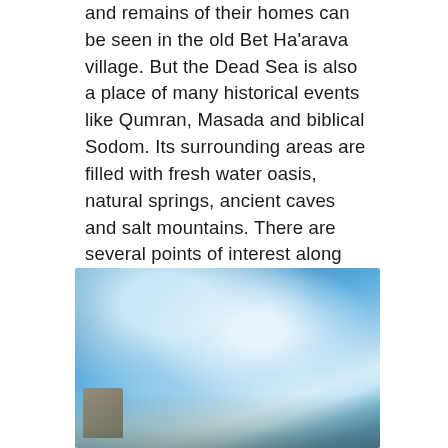and remains of their homes can be seen in the old Bet Ha'arava village. But the Dead Sea is also a place of many historical events like Qumran, Masada and biblical Sodom. Its surrounding areas are filled with fresh water oasis, natural springs, ancient caves and salt mountains. There are several points of interest along the way:
[Figure (photo): A photograph showing a blue sky with some hazy or blurred scenery, possibly showing the Dead Sea area landscape with a figure or structure visible at the bottom left.]